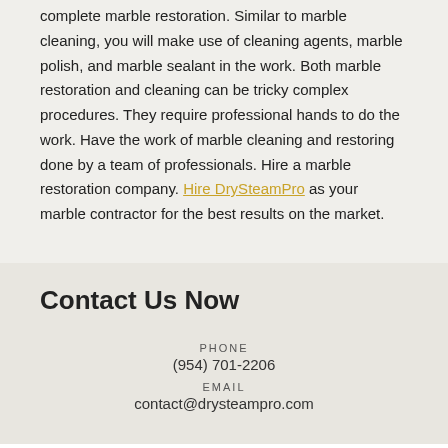complete marble restoration. Similar to marble cleaning, you will make use of cleaning agents, marble polish, and marble sealant in the work. Both marble restoration and cleaning can be tricky complex procedures. They require professional hands to do the work. Have the work of marble cleaning and restoring done by a team of professionals. Hire a marble restoration company. Hire DrySteamPro as your marble contractor for the best results on the market.
Contact Us Now
PHONE
(954) 701-2206
EMAIL
contact@drysteampro.com